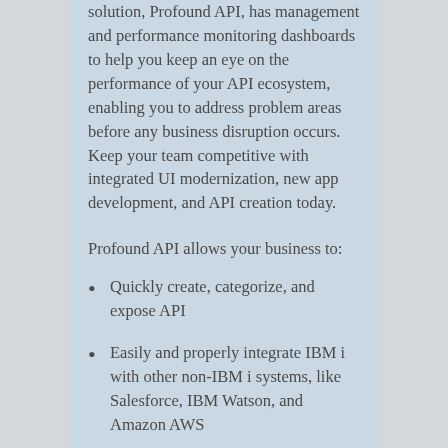solution, Profound API, has management and performance monitoring dashboards to help you keep an eye on the performance of your API ecosystem, enabling you to address problem areas before any business disruption occurs. Keep your team competitive with integrated UI modernization, new app development, and API creation today.
Profound API allows your business to:
Quickly create, categorize, and expose API
Easily and properly integrate IBM i with other non-IBM i systems, like Salesforce, IBM Watson, and Amazon AWS
Stay competitive and increase business agility by leveraging